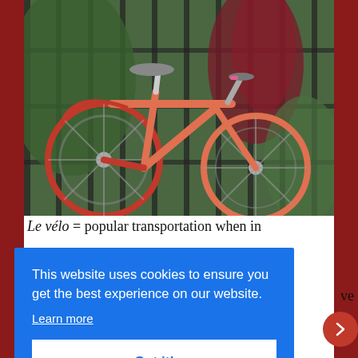[Figure (photo): An orange/coral-colored bicycle leaned against a black metal fence with green and red-purple tropical plants in the background.]
Le vélo = popular transportation when in Paris
This website uses cookies to ensure you get the best experience on our website.
Learn more
Got it!
ve